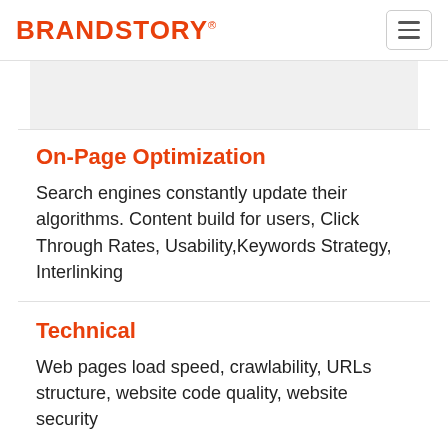BRANDSTORY®
On-Page Optimization
Search engines constantly update their algorithms. Content build for users, Click Through Rates, Usability,Keywords Strategy, Interlinking
Technical
Web pages load speed, crawlability, URLs structure, website code quality, website security